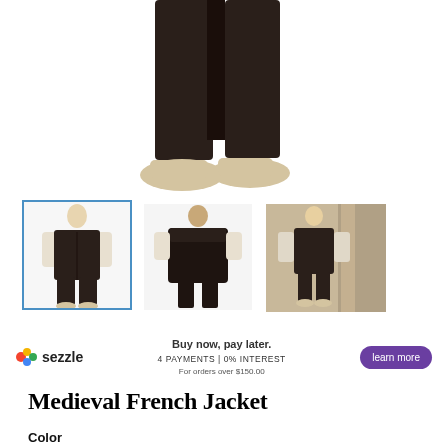[Figure (photo): Main product photo showing lower half of a man wearing dark medieval trousers and beige shoes against white background]
[Figure (photo): Three product thumbnail images: (1) front view of man in black medieval vest with white shirt and black trousers - selected with blue border; (2) back view of black medieval jacket; (3) man in medieval outfit standing near stone columns]
[Figure (infographic): Sezzle buy now pay later banner with logo, '4 PAYMENTS | 0% INTEREST', 'For orders over $150.00', and a purple 'learn more' button]
Medieval French Jacket
Color
Choose an option
Size  4X(hats My Size?)